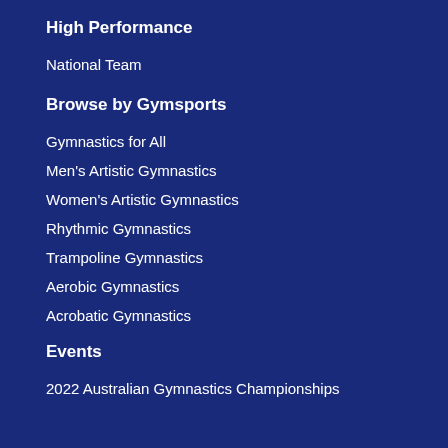High Performance
National Team
Browse by Gymsports
Gymnastics for All
Men's Artistic Gymnastics
Women's Artistic Gymnastics
Rhythmic Gymnastics
Trampoline Gymnastics
Aerobic Gymnastics
Acrobatic Gymnastics
Events
2022 Australian Gymnastics Championships